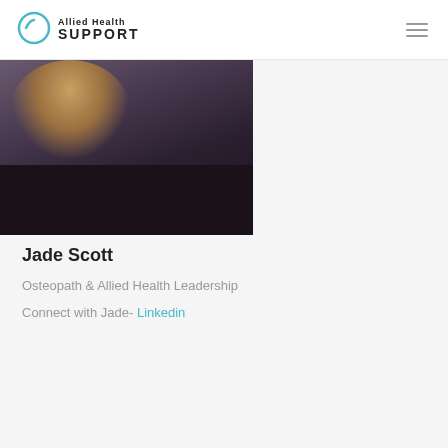Allied Health SUPPORT
[Figure (photo): Portrait photo of Jade Scott, a woman with blonde wavy hair wearing a dark navy/black top, photographed against a blurred outdoor background]
Jade Scott
Osteopath & Allied Health Leadership
Connect with Jade- Linkedin